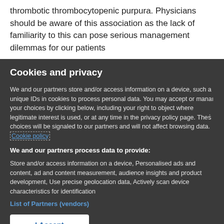thrombotic thrombocytopenic purpura. Physicians should be aware of this association as the lack of familiarity to this can pose serious management dilemmas for our patients
Cookies and privacy
We and our partners store and/or access information on a device, such a unique IDs in cookies to process personal data. You may accept or manage your choices by clicking below, including your right to object where legitimate interest is used, or at any time in the privacy policy page. These choices will be signaled to our partners and will not affect browsing data. Cookie policy
We and our partners process data to provide:
Store and/or access information on a device, Personalised ads and content, ad and content measurement, audience insights and product development, Use precise geolocation data, Actively scan device characteristics for identification
List of Partners (vendors)
I Accept